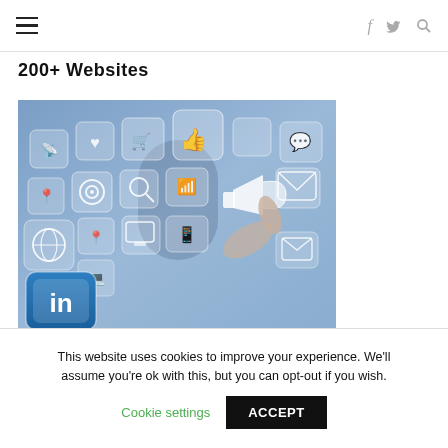≡  f  𝑡  🔍
200+ Websites
[Figure (photo): Photo of a hand pointing at social media icons floating in the air, with a LinkedIn logo icon in the foreground.]
The Linkedin Influencer Marketing Bundle For Your Business But Under $100
This website uses cookies to improve your experience. We'll assume you're ok with this, but you can opt-out if you wish.
Cookie settings  ACCEPT